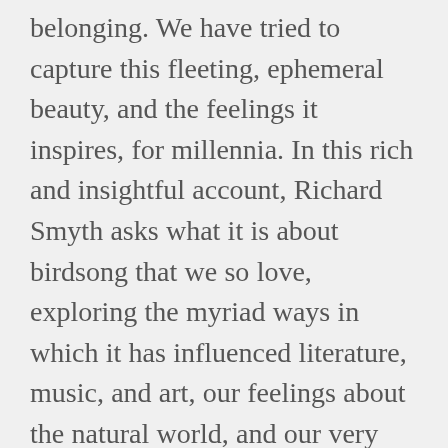belonging. We have tried to capture this fleeting, ephemeral beauty, and the feelings it inspires, for millennia. In this rich and insightful account, Richard Smyth asks what it is about birdsong that we so love, exploring the myriad ways in which it has influenced literature, music, and art, our feelings about the natural world, and our very ideas of what it means to be human. Does the song-thrush mean to sing “a full-hearted evensong/Of joy illimited,” as he does in Hardy’s poem “The Darkling Thrush?” Examining his own conflicted love of birdsong, Smyth’s nuanced investigation shows that what we hear says as much about us, our dreams and desires, as it